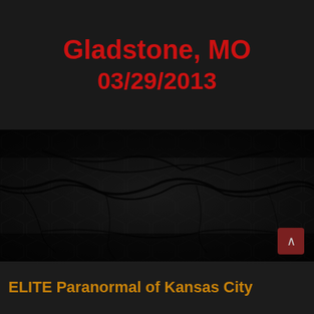Gladstone, MO
03/29/2013
[Figure (photo): Dark textured background with cracked stone/wall pattern with hexagonal motifs, heavily shadowed]
ELITE Paranormal of Kansas City